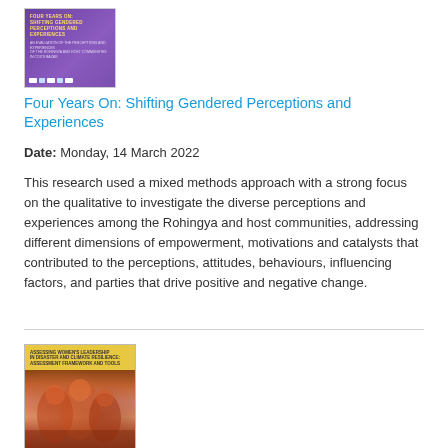[Figure (illustration): Book cover with purple background, showing 'Four Years On: Shifting Gendered Perceptions and Experiences' with small logos at bottom]
Four Years On: Shifting Gendered Perceptions and Experiences
Date: Monday, 14 March 2022
This research used a mixed methods approach with a strong focus on the qualitative to investigate the diverse perceptions and experiences among the Rohingya and host communities, addressing different dimensions of empowerment, motivations and catalysts that contributed to the perceptions, attitudes, behaviours, influencing factors, and parties that drive positive and negative change.
[Figure (illustration): Book cover with yellow/gold background, showing women in colorful hijabs, titled about Assessing Women's Leadership in Disaster and Climate Resilience]
Assessing Women's Leadership in Disaster and Climate Resilience: Assessment Framework and Tools